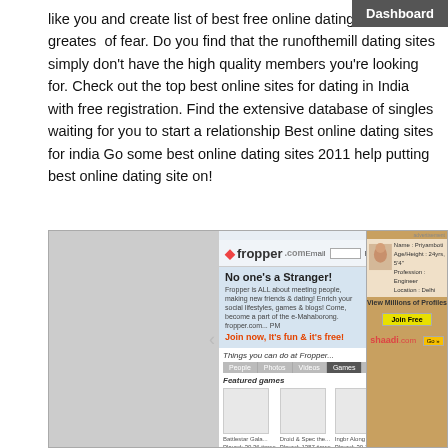like you and create list of best free online dating sites the greatest of fear. Do you find that the runofthemill dating sites simply don't have the high quality members you're looking for. Check out the top best online sites for dating in India with free registration. Find the extensive database of singles waiting for you to start a relationship Best online dating sites for india Go some best online dating sites 2011 help putting best online dating site on!
[Figure (screenshot): Screenshot of the Fropper.com social networking website homepage showing the tagline 'No one's a Stranger!', navigation tabs for People, Photos, Videos, Games, Groups, mBuy, featured games section with game thumbnails, and sidebar advertisements including Shaadi.com]
[Figure (screenshot): Sidebar showing 'Free Best Online Dating Sites In India' link box with icon, and ghosted text below reading 'Free Best Online Dating Sites In India']